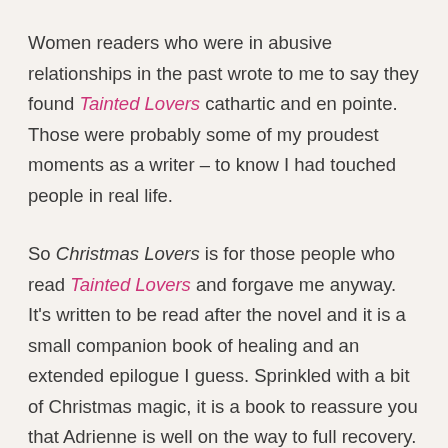Women readers who were in abusive relationships in the past wrote to me to say they found Tainted Lovers cathartic and en pointe. Those were probably some of my proudest moments as a writer – to know I had touched people in real life.
So Christmas Lovers is for those people who read Tainted Lovers and forgave me anyway. It's written to be read after the novel and it is a small companion book of healing and an extended epilogue I guess. Sprinkled with a bit of Christmas magic, it is a book to reassure you that Adrienne is well on the way to full recovery.
I loved and loathed writing Tainted Lovers. I almost didn't